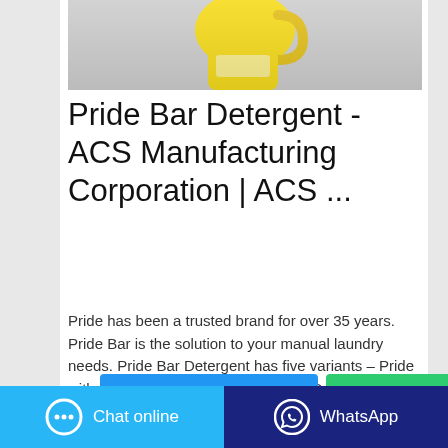[Figure (photo): Yellow plastic detergent bottle (Pride Bar Detergent product), partially visible at top of card]
Pride Bar Detergent - ACS Manufacturing Corporation | ACS ...
Pride has been a trusted brand for over 35 years. Pride Bar is the solution to your manual laundry needs. Pride Bar Detergent has five variants – Pride with Anti-Bacterial, Pride with Fabric Conditioner, Pride with Kalamansi, Pride Power Blue, Pride Linis Tawas. Each Pride …
Contact the manufacturer
WhatsApp
Chat online
WhatsApp